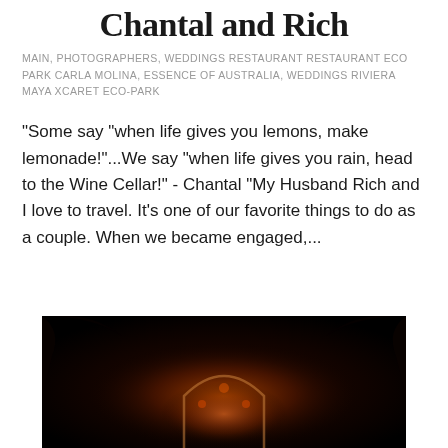Chantal and Rich
MAIN, PHOTOGRAPHERS, WEDDINGS RESTAURANT RESTAURANT ECO PARK CARLA MOLINA, ESSENCE OF AUSTRALIA, WEDDINGS RIVIERA MAYA XCARET ECO-PARK
"Some say "when life gives you lemons, make lemonade!"...We say "when life gives you rain, head to the Wine Cellar!" - Chantal "My Husband Rich and I love to travel. It's one of our favorite things to do as a couple. When we became engaged,...
[Figure (photo): Dark atmospheric wedding photo with warm amber/red glow illuminating a decorative arch or architectural element, set against very dark background with foliage silhouettes]